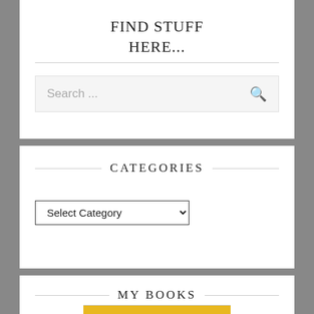FIND STUFF HERE...
[Figure (screenshot): Search bar with placeholder text 'Search ...' and a magnifying glass icon on the right]
CATEGORIES
[Figure (screenshot): Dropdown select element with 'Select Category' placeholder and chevron arrow]
MY BOOKS
[Figure (screenshot): Partial book cover image visible at bottom, yellow/gold colored]